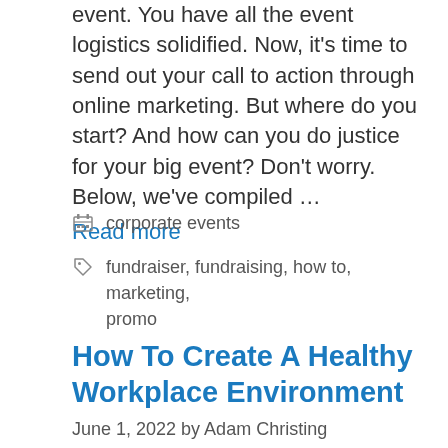event. You have all the event logistics solidified. Now, it’s time to send out your call to action through online marketing. But where do you start? And how can you do justice for your big event? Don’t worry. Below, we’ve compiled …
Read more
corporate events
fundraiser, fundraising, how to, marketing, promo
How To Create A Healthy Workplace Environment
June 1, 2022 by Adam Christing